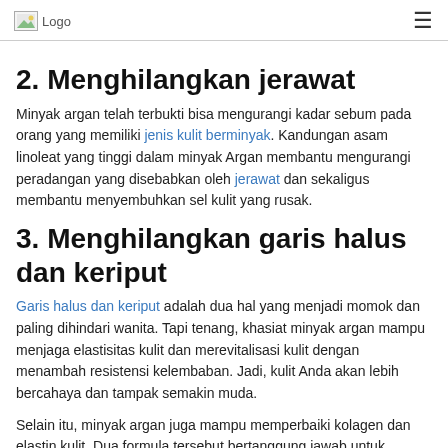Logo [hamburger menu]
2. Menghilangkan jerawat
Minyak argan telah terbukti bisa mengurangi kadar sebum pada orang yang memiliki jenis kulit berminyak. Kandungan asam linoleat yang tinggi dalam minyak Argan membantu mengurangi peradangan yang disebabkan oleh jerawat dan sekaligus membantu menyembuhkan sel kulit yang rusak.
3. Menghilangkan garis halus dan keriput
Garis halus dan keriput adalah dua hal yang menjadi momok dan paling dihindari wanita. Tapi tenang, khasiat minyak argan mampu menjaga elastisitas kulit dan merevitalisasi kulit dengan menambah resistensi kelembaban. Jadi, kulit Anda akan lebih bercahaya dan tampak semakin muda.
Selain itu, minyak argan juga mampu memperbaiki kolagen dan elastin kulit. Dua formula tersebut bertanggung jawab untuk menjaga kekencangan kulit, mengurangi garis halus bahkan keriput yang tampak nyata, juga perbaikan kulit yang rusak. Sehingga